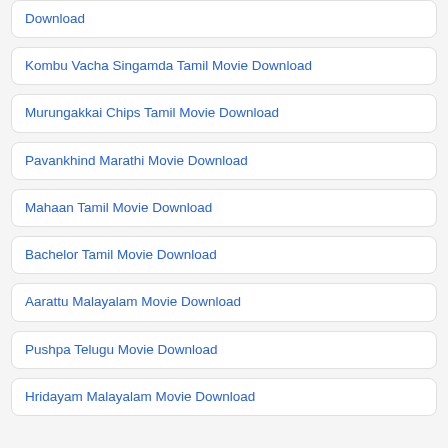Download
Kombu Vacha Singamda Tamil Movie Download
Murungakkai Chips Tamil Movie Download
Pavankhind Marathi Movie Download
Mahaan Tamil Movie Download
Bachelor Tamil Movie Download
Aarattu Malayalam Movie Download
Pushpa Telugu Movie Download
Hridayam Malayalam Movie Download